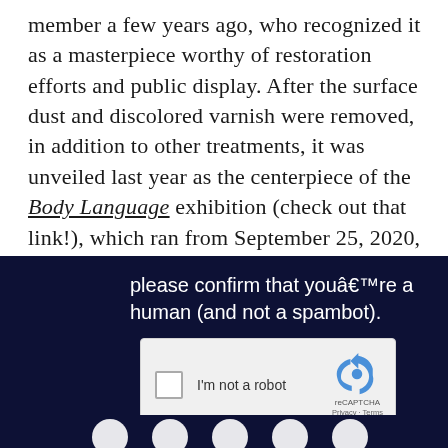member a few years ago, who recognized it as a masterpiece worthy of restoration efforts and public display. After the surface dust and discolored varnish were removed, in addition to other treatments, it was unveiled last year as the centerpiece of the Body Language exhibition (check out that link!), which ran from September 25, 2020, to January 17, 2021.
[Figure (screenshot): Screenshot of a CAPTCHA prompt on a dark navy background reading 'please confirm that youâ€™re a human (and not a spambot).' with a reCAPTCHA widget showing a checkbox labeled 'I'm not a robot' and the reCAPTCHA logo with Privacy and Terms links. Below are partial social media icon buttons.]